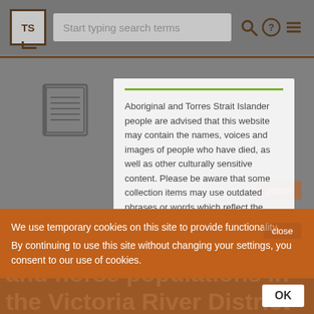TS | Start typing search terms
[Figure (screenshot): Background page with book icon and grayed-out content]
Aboriginal and Torres Strait Islander people are advised that this website may contain the names, voices and images of people who have died, as well as other culturally sensitive content. Please be aware that some collection items may use outdated phrases or words which reflect the attitude of the creator at the time, and are now considered offensive
We use temporary cookies on this site to provide functionality.
By continuing to use this site without changing your settings, you consent to our use of cookies.
Aerial survey of donkey and horse populations in the Victoria River District 2006